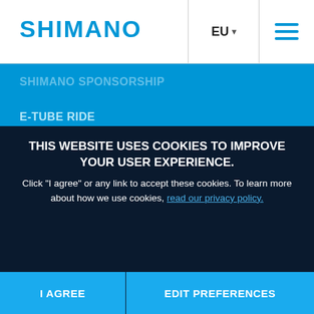SHIMANO | EU | Menu
SHIMANO SPONSORSHIP
E-TUBE RIDE
E-TUBE PROJECT
SHIMANO CONNECT Lab
[Figure (screenshot): Row of social media icons: Facebook (ROAD), Facebook (MTB), Facebook (E-BIKE), Twitter (ROAD), Twitter (MTB), and YouTube (ride shimano)]
THIS WEBSITE USES COOKIES TO IMPROVE YOUR USER EXPERIENCE. Click "I agree" or any link to accept these cookies. To learn more about how we use cookies, read our privacy policy.
I AGREE | EDIT PREFERENCES